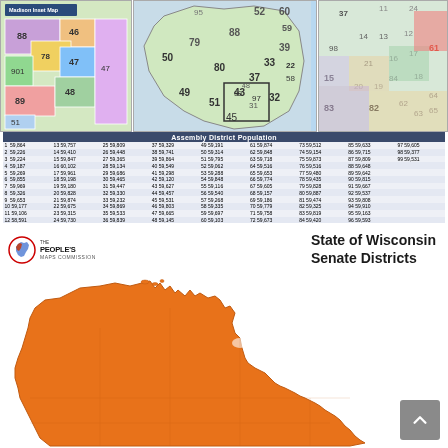[Figure (map): Three Wisconsin Assembly District maps side by side — left inset shows Madison area (districts 46,47,48,51,78,88,89,90), center is full state map with numbered districts, right is Milwaukee area detail. Districts labeled with numbers 31-99.]
| Assembly District Population |
| --- |
| 1 59,864 | 13 59,757 | 25 59,809 | 37 59,329 | 49 59,191 | 61 59,874 | 73 59,512 | 85 59,633 | 97 59,605 |
| 2 59,226 | 14 59,410 | 26 59,448 | 38 59,741 | 50 59,314 | 62 59,848 | 74 59,154 | 86 59,715 | 98 59,377 |
| 3 59,224 | 15 59,847 | 27 59,365 | 39 59,864 | 51 59,795 | 63 59,718 | 75 59,873 | 87 59,809 | 99 59,531 |
| 4 59,187 | 16 60,102 | 28 59,134 | 40 59,549 | 52 59,062 | 64 59,516 | 76 59,516 | 88 59,648 |  |
| 5 59,269 | 17 59,961 | 29 59,686 | 41 59,298 | 53 59,288 | 65 59,653 | 77 59,480 | 89 59,642 |  |
| 6 59,855 | 18 59,198 | 30 59,465 | 42 59,120 | 54 59,848 | 66 59,774 | 78 59,435 | 90 59,815 |  |
| 7 59,969 | 19 59,180 | 31 59,447 | 43 59,627 | 55 59,116 | 67 59,605 | 79 59,828 | 91 59,667 |  |
| 8 59,326 | 20 59,828 | 32 59,330 | 44 59,457 | 56 59,540 | 68 59,157 | 80 59,887 | 92 59,537 |  |
| 9 59,653 | 21 59,874 | 33 59,232 | 45 59,531 | 57 59,268 | 69 59,186 | 81 59,474 | 93 59,808 |  |
| 10 59,177 | 22 59,675 | 34 59,869 | 46 59,803 | 58 59,335 | 70 59,779 | 82 59,325 | 94 59,910 |  |
| 11 59,106 | 23 59,315 | 35 59,533 | 47 59,665 | 59 59,697 | 71 59,758 | 83 59,819 | 95 59,163 |  |
| 12 58,591 | 24 59,730 | 36 59,839 | 48 59,145 | 60 59,103 | 72 59,673 | 84 59,420 | 96 59,593 |  |
[Figure (logo): The People's Maps Commission circular logo with red/blue Wisconsin shape icon]
State of Wisconsin Senate Districts
[Figure (map): Wisconsin state map outline filled in orange, showing northern counties and Lake Superior coastline — partial view of Wisconsin Senate Districts map]